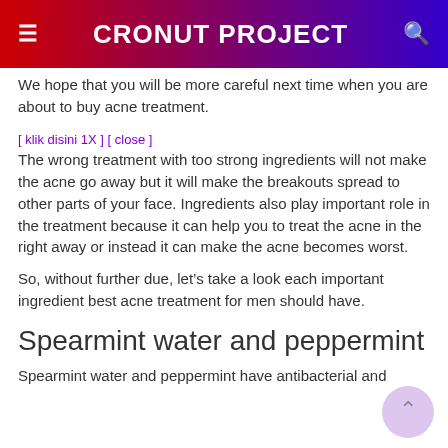CRONUT PROJECT
We hope that you will be more careful next time when you are about to buy acne treatment.
The wrong treatment with too strong ingredients will not make the acne go away but it will make the breakouts spread to other parts of your face. Ingredients also play important role in the treatment because it can help you to treat the acne in the right away or instead it can make the acne becomes worst.
So, without further due, let’s take a look each important ingredient best acne treatment for men should have.
Spearmint water and peppermint
Spearmint water and peppermint have antibacterial and